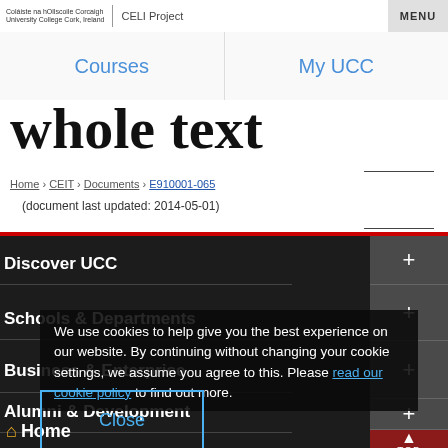Coláiste na hOllscoile Corcaigh University College Cork, Ireland | CELI Project  MENU
Courses   My UCC
whole text
Home › CEIT › Documents › E910001-065
(document last updated: 2014-05-01)
Discover UCC
Schools & Departments
Business & Enterprise
We use cookies to help give you the best experience on our website. By continuing without changing your cookie settings, we assume you agree to this. Please read our cookie policy to find out more.
Close
Alumni & Development
Home